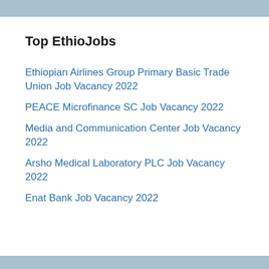Top EthioJobs
Ethiopian Airlines Group Primary Basic Trade Union Job Vacancy 2022
PEACE Microfinance SC Job Vacancy 2022
Media and Communication Center Job Vacancy 2022
Arsho Medical Laboratory PLC Job Vacancy 2022
Enat Bank Job Vacancy 2022